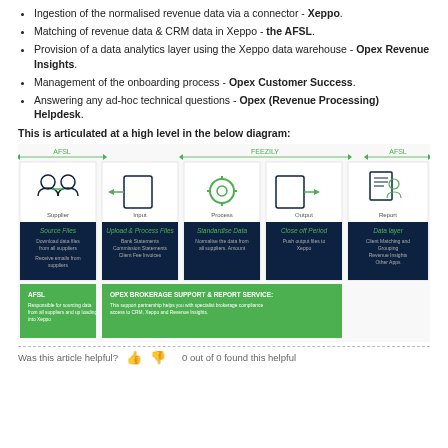Ingestion of the normalised revenue data via a connector - Xeppo.
Matching of revenue data & CRM data in Xeppo - the AFSL.
Provision of a data analytics layer using the Xeppo data warehouse - Opex Revenue Insights.
Management of the onboarding process - Opex Customer Success.
Answering any ad-hoc technical questions - Opex (Revenue Processing) Helpdesk.
This is articulated at a high level in the below diagram:
[Figure (infographic): Process flow diagram showing five stages: Supplier, Input, Process, Output, Report. Labels include AFSL and FEEZILY sections. Bottom green boxes show AFSL and OPEX BROKERAGE SUPPORT & REPORT SERVICE descriptions.]
Was this article helpful?   0 out of 0 found this helpful